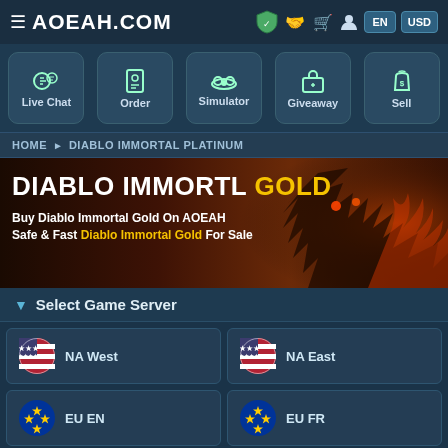AOEAH.COM
[Figure (screenshot): Navigation bar with Live Chat, Order, Simulator, Giveaway, Sell icons]
HOME ▶ DIABLO IMMORTAL PLATINUM
[Figure (illustration): Banner: DIABLO IMMORTL GOLD - Buy Diablo Immortal Gold On AOEAH Safe & Fast Diablo Immortal Gold For Sale, with demon creature on right]
Select Game Server
NA West
NA East
EU EN
EU FR
EU DE
EU ES